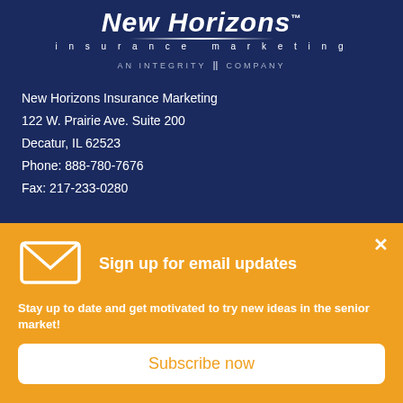[Figure (logo): New Horizons Insurance Marketing logo with 'AN INTEGRITY COMPANY' tagline on dark navy background]
New Horizons Insurance Marketing
122 W. Prairie Ave. Suite 200
Decatur, IL 62523
Phone: 888-780-7676
Fax: 217-233-0280
Sign up for email updates
Stay up to date and get motivated to try new ideas in the senior market!
Subscribe now